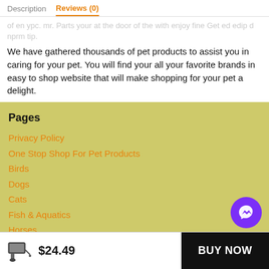Description   Reviews (0)
We have gathered thousands of pet products to assist you in caring for your pet. You will find your all your favorite brands in easy to shop website that will make shopping for your pet a delight.
Pages
Privacy Policy
One Stop Shop For Pet Products
Birds
Dogs
Cats
Fish & Aquatics
Horses
Small Animals
Reptiles & Amphibians
Shop
Blog
$24.49
BUY NOW